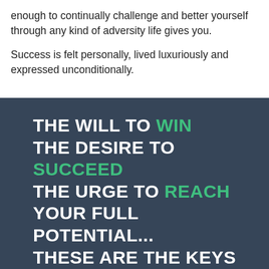enough to continually challenge and better yourself through any kind of adversity life gives you.
Success is felt personally, lived luxuriously and expressed unconditionally.
[Figure (infographic): Dark blue-grey background with large bold white and green uppercase text reading: THE WILL TO WIN / THE DESIRE TO SUCCEED / THE URGE TO REACH / YOUR FULL POTENTIAL... / THESE ARE THE KEYS / THAT WILL UNLOCK / THE DOOR TO / PERSONAL EXCELLENCE. The words WIN, SUCCEED, and REACH are highlighted in green.]